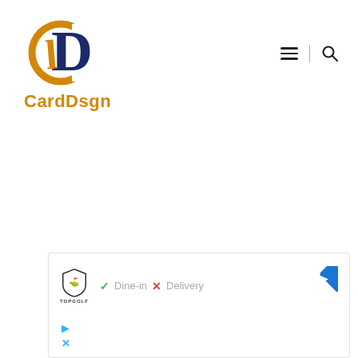[Figure (logo): CardDsgn logo: overlapping D and C letterforms in dark navy and orange/gold, with text 'CardDsgn' below in orange]
[Figure (other): Navigation icons: hamburger menu (three horizontal lines) and search (magnifying glass) icons separated by a vertical divider]
[Figure (other): Advertisement box showing TopGolf logo/shield, green checkmark with 'Dine-in', red X with 'Delivery', blue direction arrow button, and small play/close icons at bottom left]